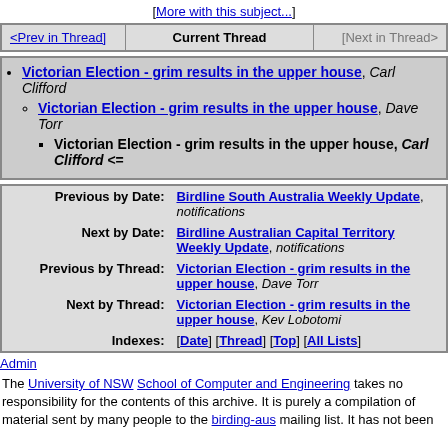[More with this subject...]
| <Prev in Thread] | Current Thread | [Next in Thread> |
| --- | --- | --- |
Victorian Election - grim results in the upper house, Carl Clifford
Victorian Election - grim results in the upper house, Dave Torr
Victorian Election - grim results in the upper house, Carl Clifford <=
|  |  |
| --- | --- |
| Previous by Date: | Birdline South Australia Weekly Update, notifications |
| Next by Date: | Birdline Australian Capital Territory Weekly Update, notifications |
| Previous by Thread: | Victorian Election - grim results in the upper house, Dave Torr |
| Next by Thread: | Victorian Election - grim results in the upper house, Kev Lobotomi |
| Indexes: | [Date] [Thread] [Top] [All Lists] |
Admin
The University of NSW School of Computer and Engineering takes no responsibility for the contents of this archive. It is purely a compilation of material sent by many people to the birding-aus mailing list. It has not been